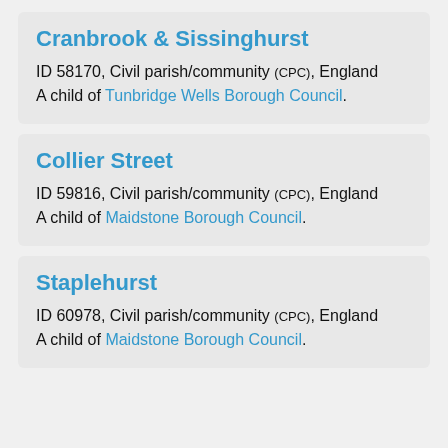Cranbrook & Sissinghurst
ID 58170, Civil parish/community (CPC), England
A child of Tunbridge Wells Borough Council.
Collier Street
ID 59816, Civil parish/community (CPC), England
A child of Maidstone Borough Council.
Staplehurst
ID 60978, Civil parish/community (CPC), England
A child of Maidstone Borough Council.